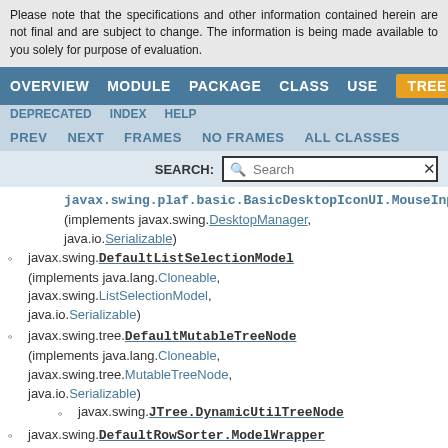Please note that the specifications and other information contained herein are not final and are subject to change. The information is being made available to you solely for purpose of evaluation.
OVERVIEW  MODULE  PACKAGE  CLASS  USE  TREE
DEPRECATED  INDEX  HELP
PREV  NEXT  FRAMES  NO FRAMES  ALL CLASSES
javax.swing.DefaultListSelectionModel (implements java.lang.Cloneable, javax.swing.ListSelectionModel, java.io.Serializable)
javax.swing.tree.DefaultMutableTreeNode (implements java.lang.Cloneable, javax.swing.tree.MutableTreeNode, java.io.Serializable)
javax.swing.JTree.DynamicUtilTreeNode
javax.swing.DefaultRowSorter.ModelWrapper
javax.swing.DefaultSingleSelectionModel (implements java.io.Serializable, javax.swing.SingleSelectionModel)
javax.swing.tree.DefaultTreeSelectionModel (implements java.lang.Cloneable,